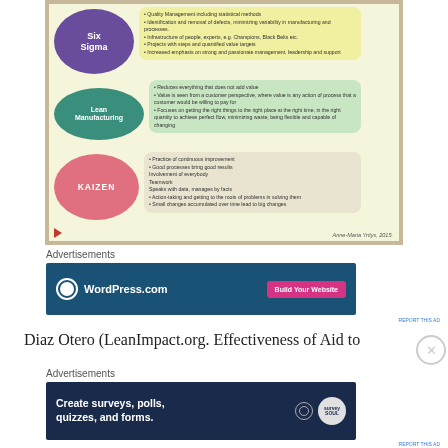[Figure (infographic): Educational infographic showing three management methodologies: Six Sigma (purple ellipse) with bullet points about quality management; Lean Manufacturing (teal ellipse) with bullet points about reducing waste and adding value; KAIZEN (pink ellipse) with bullet points about continuous improvement. Attribution: Anne-Maria Yritys, 2015.]
Advertisements
[Figure (screenshot): WordPress.com advertisement banner with dark blue background, WordPress logo, text 'WordPress.com', and pink 'Build Your Website' button.]
REPORT THIS AD
Diaz Otero (LeanImpact.org. Effectiveness of Aid to
Advertisements
[Figure (screenshot): WordPress advertisement for surveys: 'Create surveys, polls, quizzes, and forms.' with WordPress and SurveyMonkey logos on dark navy background.]
REPORT THIS AD